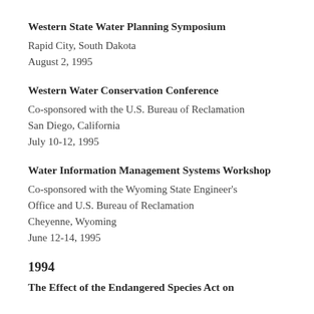Western State Water Planning Symposium
Rapid City, South Dakota
August 2, 1995
Western Water Conservation Conference
Co-sponsored with the U.S. Bureau of Reclamation
San Diego, California
July 10-12, 1995
Water Information Management Systems Workshop
Co-sponsored with the Wyoming State Engineer's Office and U.S. Bureau of Reclamation
Cheyenne, Wyoming
June 12-14, 1995
1994
The Effect of the Endangered Species Act on